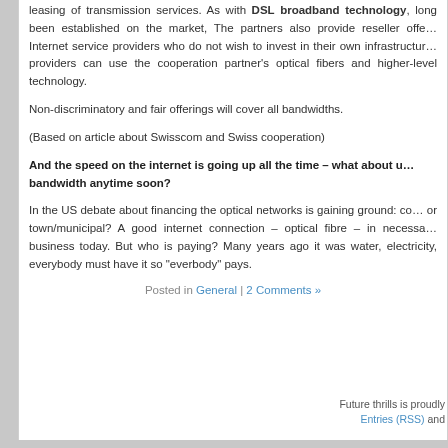leasing of transmission services. As with DSL broadband technology, long been established on the market, The partners also provide reseller offerings to Internet service providers who do not wish to invest in their own infrastructure. Those providers can use the cooperation partner's optical fibers and higher-level technology.
Non-discriminatory and fair offerings will cover all bandwidths.
(Based on article about Swisscom and Swiss cooperation)
And the speed on the internet is going up all the time – what about unlimited bandwidth anytime soon?
In the US debate about financing the optical networks is gaining ground: community or town/municipal? A good internet connection – optical fibre – in necessary for business today. But who is paying? Many years ago it was water, electricity, everybody must have it so "everbody" pays.
Posted in General | 2 Comments »
Future thrills is proudly Entries (RSS) and